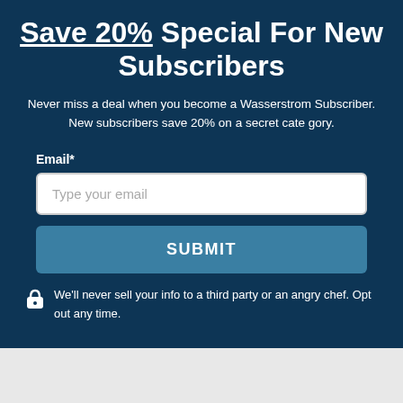Save 20% Special For New Subscribers
Never miss a deal when you become a Wasserstrom Subscriber. New subscribers save 20% on a secret category.
Email*
Type your email
SUBMIT
We'll never sell your info to a third party or an angry chef. Opt out any time.